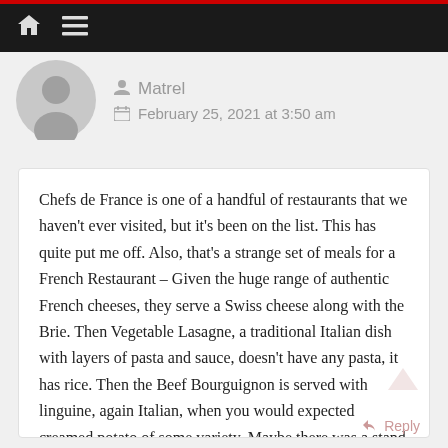Navigation bar with home and menu icons
Matrel
February 25, 2021 at 3:50 am
Chefs de France is one of a handful of restaurants that we haven't ever visited, but it's been on the list. This has quite put me off. Also, that's a strange set of meals for a French Restaurant – Given the huge range of authentic French cheeses, they serve a Swiss cheese along with the Brie. Then Vegetable Lasagne, a traditional Italian dish with layers of pasta and sauce, doesn't have any pasta, it has rice. Then the Beef Bourguignon is served with linguine, again Italian, when you would expected creamed potato of some variety. Maybe there was a stand in Chef who hails from Italy!? 🙂